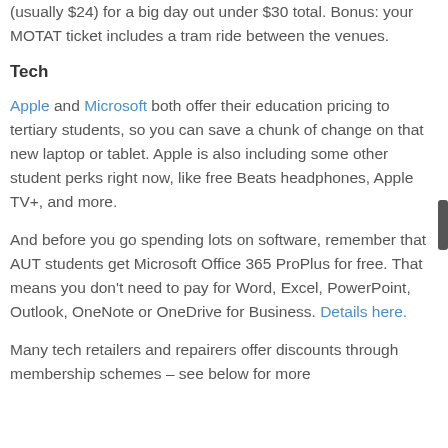(usually $24) for a big day out under $30 total. Bonus: your MOTAT ticket includes a tram ride between the venues.
Tech
Apple and Microsoft both offer their education pricing to tertiary students, so you can save a chunk of change on that new laptop or tablet. Apple is also including some other student perks right now, like free Beats headphones, Apple TV+, and more.
And before you go spending lots on software, remember that AUT students get Microsoft Office 365 ProPlus for free. That means you don't need to pay for Word, Excel, PowerPoint, Outlook, OneNote or OneDrive for Business. Details here.
Many tech retailers and repairers offer discounts through membership schemes – see below for more